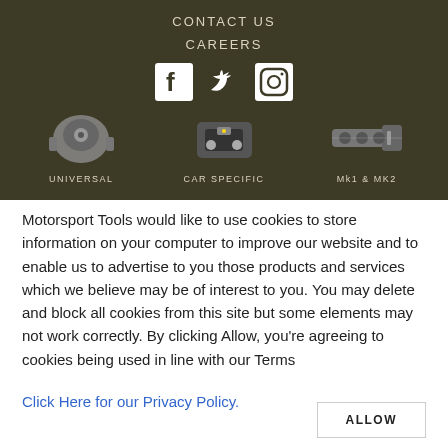CONTACT US
CAREERS
[Figure (illustration): Social media icons: Facebook, Twitter, Instagram on dark background]
[Figure (photo): Three product category images: Universal part (hub), Car Specific part (motor), Mk1 & MK2 part (gearbox) on dark background with labels UNIVERSAL, CAR SPECIFIC, Mk1 & MK2]
Motorsport Tools would like to use cookies to store information on your computer to improve our website and to enable us to advertise to you those products and services which we believe may be of interest to you. You may delete and block all cookies from this site but some elements may not work correctly. By clicking Allow, you're agreeing to cookies being used in line with our Terms
Click Here for our Privacy Policy.
ALLOW